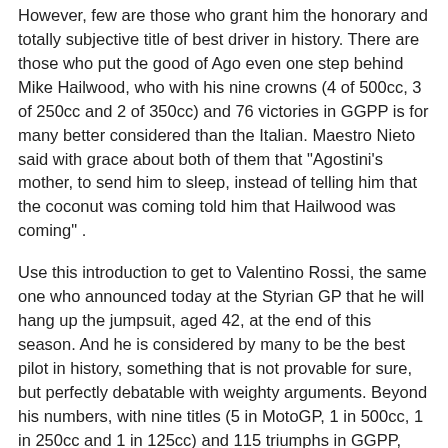However, few are those who grant him the honorary and totally subjective title of best driver in history. There are those who put the good of Ago even one step behind Mike Hailwood, who with his nine crowns (4 of 500cc, 3 of 250cc and 2 of 350cc) and 76 victories in GGPP is for many better considered than the Italian. Maestro Nieto said with grace about both of them that "Agostini's mother, to send him to sleep, instead of telling him that the coconut was coming told him that Hailwood was coming" .
Use this introduction to get to Valentino Rossi, the same one who announced today at the Styrian GP that he will hang up the jumpsuit, aged 42, at the end of this season. And he is considered by many to be the best pilot in history, something that is not provable for sure, but perfectly debatable with weighty arguments. Beyond his numbers, with nine titles (5 in MotoGP, 1 in 500cc, 1 in 250cc and 1 in 125cc) and 115 triumphs in GGPP, which for many elevates Tavullia as the best rider of all time is having It has been shown that in this sport at least both the driver and the mechanics matter, something that does not happen in other motor sports.